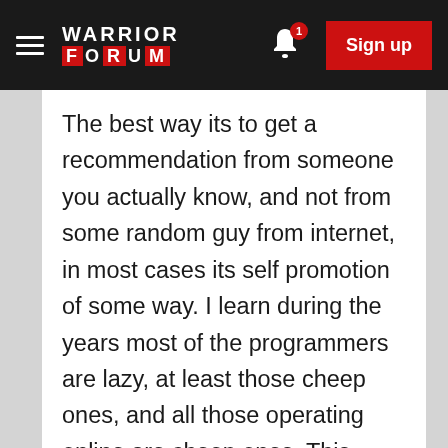Warrior Forum — Sign up
The best way its to get a recommendation from someone you actually know, and not from some random guy from internet, in most cases its self promotion of some way. I learn during the years most of the programmers are lazy, at least those cheep ones, and all those operating online are cheep ones. This make me learn programming, and now I'm working with one grate guy who is expert in 4-5 OOP programming languages, and he is a teacher as well, damn good one. PM me if you want to